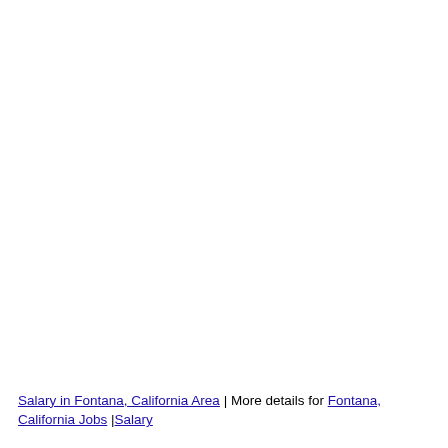Salary in Fontana, California Area | More details for Fontana, California Jobs |Salary